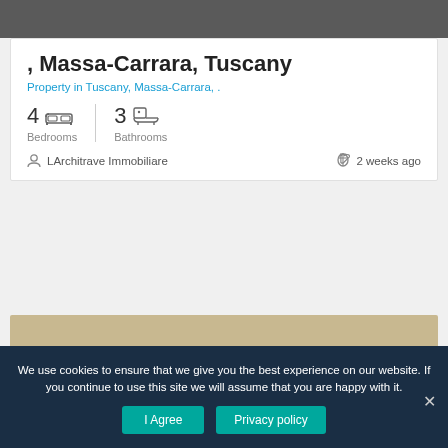[Figure (photo): Top portion of a property photo, dark/grey tones, partially cropped]
, Massa-Carrara, Tuscany
Property in Tuscany, Massa-Carrara, .
4 Bedrooms | 3 Bathrooms
LArchitrave Immobiliare   2 weeks ago
[Figure (photo): Bottom property photo, warm beige/gold tones, partially cropped]
We use cookies to ensure that we give you the best experience on our website. If you continue to use this site we will assume that you are happy with it.